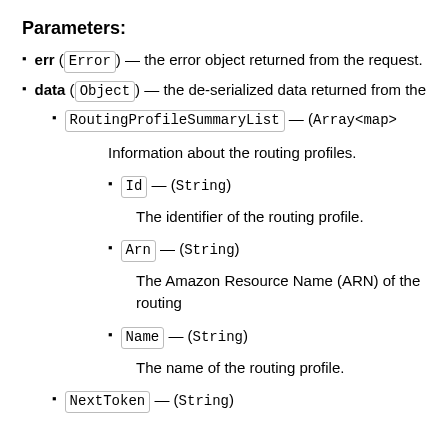Parameters:
err (Error) — the error object returned from the request.
data (Object) — the de-serialized data returned from the
RoutingProfileSummaryList — (Array<map>
Information about the routing profiles.
Id — (String)
The identifier of the routing profile.
Arn — (String)
The Amazon Resource Name (ARN) of the routing
Name — (String)
The name of the routing profile.
NextToken — (String)